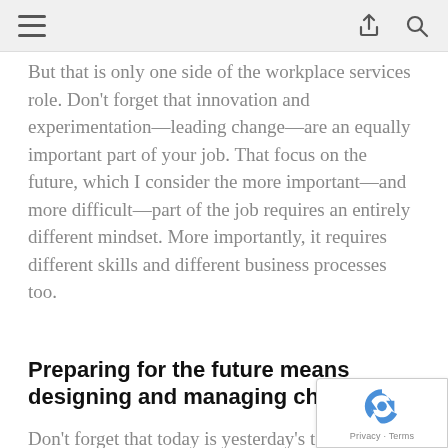[navigation bar with hamburger menu, share icon, search icon]
But that is only one side of the workplace services role. Don't forget that innovation and experimentation—leading change—are an equally important part of your job. That focus on the future, which I consider the more important—and more difficult—part of the job requires an entirely different mindset. More importantly, it requires different skills and different business processes too.
Preparing for the future means designing and managing change.
Don't forget that today is yesterday's tomorrow; in